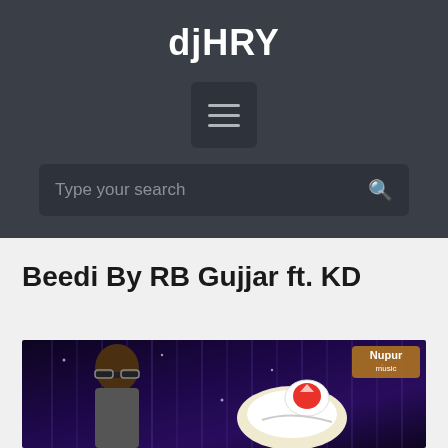djHRY
[Figure (screenshot): Menu button icon with three horizontal lines on dark background]
Type your search
Beedi By RB Gujjar ft. KD
[Figure (photo): Photo of a man with glasses in front of a sparkly purple background, with a red and white sneaker shoe visible, and Nupur music logo in top right corner]